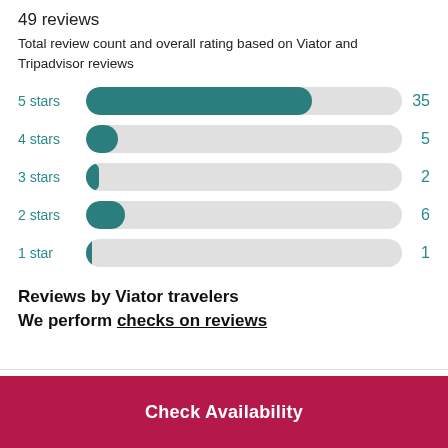49 reviews
Total review count and overall rating based on Viator and Tripadvisor reviews
[Figure (bar-chart): Star rating distribution]
Reviews by Viator travelers
We perform checks on reviews